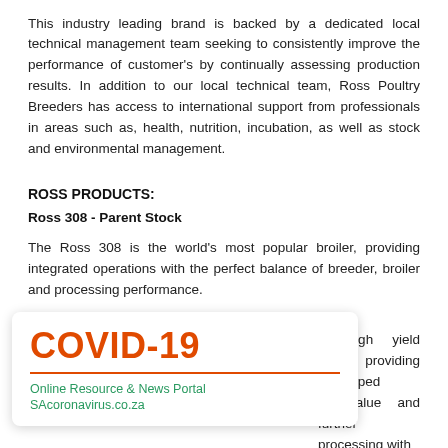This industry leading brand is backed by a dedicated local technical management team seeking to consistently improve the performance of customer's by continually assessing production results. In addition to our local technical team, Ross Poultry Breeders has access to international support from professionals in areas such as, health, nutrition, incubation, as well as stock and environmental management.
ROSS PRODUCTS:
Ross 308 - Parent Stock
The Ross 308 is the world's most popular broiler, providing integrated operations with the perfect balance of breeder, broiler and processing performance.
Ross 308 - Broilers
...al high yield leader, providing developed ...ed value and further processing with
[Figure (infographic): COVID-19 Online Resource & News Portal overlay banner with SAcoronavirus.co.za URL in green text]